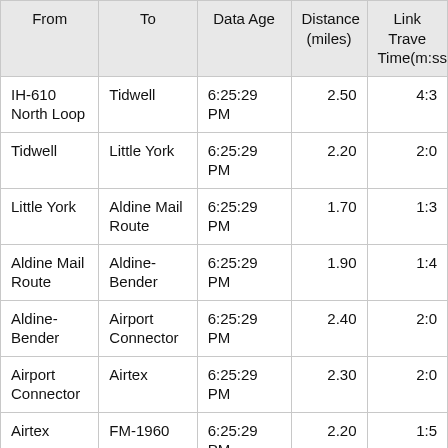| From | To | Data Age | Distance (miles) | Link Travel Time(m:ss) |
| --- | --- | --- | --- | --- |
| IH-610 North Loop | Tidwell | 6:25:29 PM | 2.50 | 4:3… |
| Tidwell | Little York | 6:25:29 PM | 2.20 | 2:0… |
| Little York | Aldine Mail Route | 6:25:29 PM | 1.70 | 1:3… |
| Aldine Mail Route | Aldine-Bender | 6:25:29 PM | 1.90 | 1:4… |
| Aldine-Bender | Airport Connector | 6:25:29 PM | 2.40 | 2:0… |
| Airport Connector | Airtex | 6:25:29 PM | 2.30 | 2:0… |
| Airtex | FM-1960 | 6:25:29 PM | 2.20 | 1:5… |
| FM-1960 | Cypresswood | 6:25:29 PM | 2.60 | 2:2… |
| Cypresswood | Riley Fuzzel | 6:25:29 PM | 2.00 | 1:3… |